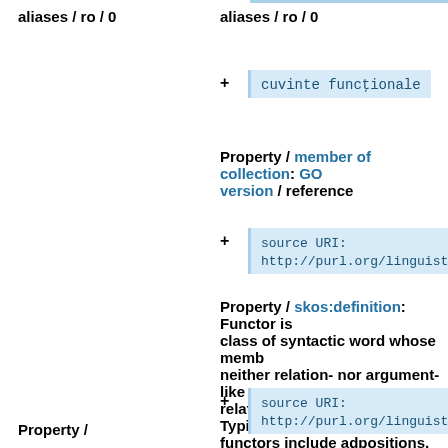aliases / ro / 0
aliases / ro / 0
cuvinte funcționale
Property / member of collection: GO version / reference
source URI: http://purl.org/linguistics/gold
Property / skos:definition: Functor is class of syntactic word whose members neither relation- nor argument-like n relational [Anderson 1997, 20]. Typic functors include adpositions, subord and complementizers. / reference
source URI: http://purl.org/linguistics/gold
Property /